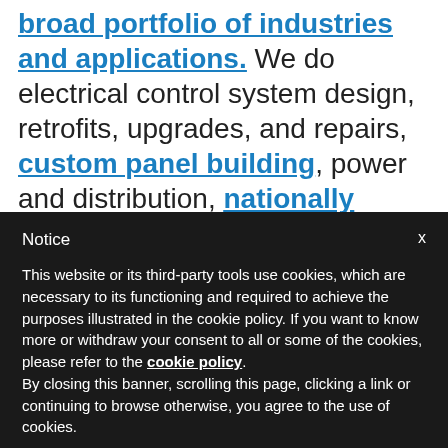broad portfolio of industries and applications. We do electrical control system design, retrofits, upgrades, and repairs, custom panel building, power and distribution, nationally ranked control system integration, and more. Premier Automation delivers innovative answers for any automation challenge.
Notice
This website or its third-party tools use cookies, which are necessary to its functioning and required to achieve the purposes illustrated in the cookie policy. If you want to know more or withdraw your consent to all or some of the cookies, please refer to the cookie policy. By closing this banner, scrolling this page, clicking a link or continuing to browse otherwise, you agree to the use of cookies.